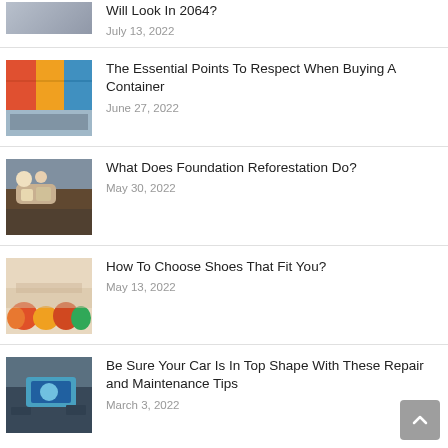Will Look In 2064?
July 13, 2022
The Essential Points To Respect When Buying A Container
June 27, 2022
What Does Foundation Reforestation Do?
May 30, 2022
How To Choose Shoes That Fit You?
May 13, 2022
Be Sure Your Car Is In Top Shape With These Repair and Maintenance Tips
March 3, 2022